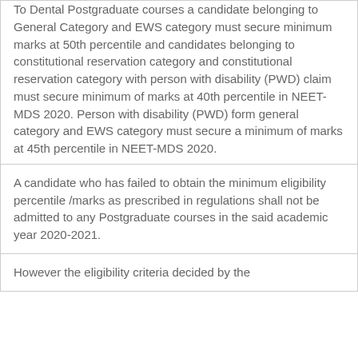To Dental Postgraduate courses a candidate belonging to General Category and EWS category must secure minimum marks at 50th percentile and candidates belonging to constitutional reservation category and constitutional reservation category with person with disability (PWD) claim must secure minimum of marks at 40th percentile in NEET-MDS 2020. Person with disability (PWD) form general category and EWS category must secure a minimum of marks at 45th percentile in NEET-MDS 2020.
A candidate who has failed to obtain the minimum eligibility percentile /marks as prescribed in regulations shall not be admitted to any Postgraduate courses in the said academic year 2020-2021.
However the eligibility criteria decided by the